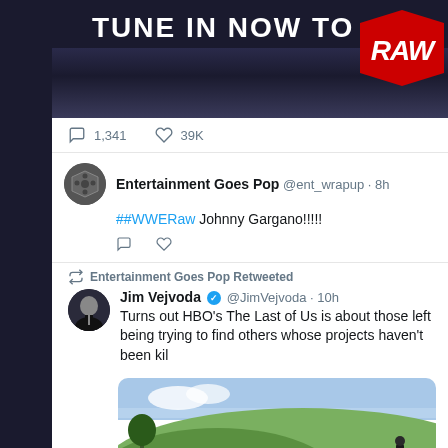[Figure (screenshot): WWE RAW promotional banner with 'TUNE IN NOW TO RAW' text and red RAW logo, showing crowd in background]
1,341   39K
Entertainment Goes Pop @ent_wrapup · 8h
##WWEERaw Johnny Gargano!!!!!
Entertainment Goes Pop Retweeted
Jim Vejvoda @JimVejvoda · 10h
Turns out HBO's The Last of Us is about those left behind trying to find others whose projects haven't been kil...
[Figure (photo): Landscape photo showing green hills and blue sky with two figures in the foreground]